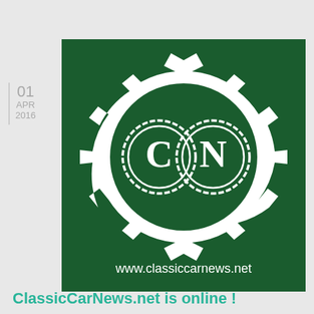01
APR
2016
[Figure (logo): ClassicCarNews.net logo: dark green square background with a white gear/cog wheel shape, inside which are two overlapping circular coin-like emblems with the letters C and N. Below reads www.classiccarnews.net in white text.]
ClassicCarNews.net is online !